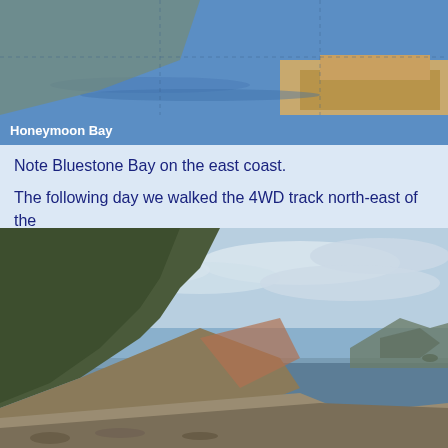[Figure (photo): Top portion of a photo showing Honeymoon Bay coastal scene with blue water and sandy/rocky shoreline, partially cropped at top]
Honeymoon Bay
Note Bluestone Bay on the east coast.
The following day we walked the 4WD track north-east of the
[Figure (photo): Coastal landscape photograph showing rugged rocky cliffs with scrubby vegetation descending to a rocky beach shoreline, with calm blue-grey sea and partly cloudy sky. Mountains visible in the background along the coastline.]